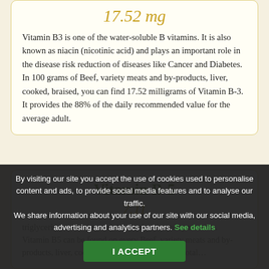17.52 mg
Vitamin B3 is one of the water-soluble B vitamins. It is also known as niacin (nicotinic acid) and plays an important role in the disease risk reduction of diseases like Cancer and Diabetes. In 100 grams of Beef, variety meats and by-products, liver, cooked, braised, you can find 17.52 milligrams of Vitamin B-3. It provides the 88% of the daily recommended value for the average adult.
Vitamin B-5
7.11
triglycerides reduction and the acceleration of synthesis... Vitamin B5 can be found on every Beef, variety meats and by-products, liver, cooked, braised, the 71% of the total...
By visiting our site you accept the use of cookies used to personalise content and ads, to provide social media features and to analyse our traffic. We share information about your use of our site with our social media, advertising and analytics partners. See details
I ACCEPT